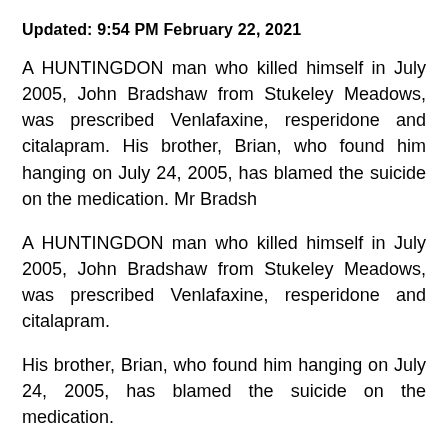Updated: 9:54 PM February 22, 2021
A HUNTINGDON man who killed himself in July 2005, John Bradshaw from Stukeley Meadows, was prescribed Venlafaxine, resperidone and citalapram. His brother, Brian, who found him hanging on July 24, 2005, has blamed the suicide on the medication. Mr Bradsh
A HUNTINGDON man who killed himself in July 2005, John Bradshaw from Stukeley Meadows, was prescribed Venlafaxine, resperidone and citalapram.
His brother, Brian, who found him hanging on July 24, 2005, has blamed the suicide on the medication.
Mr Bradshaw, from Stukeley Meadows, says his older brother, John, 53, who had been a keen athlete - and was once in The Guinness Book of Records for taking